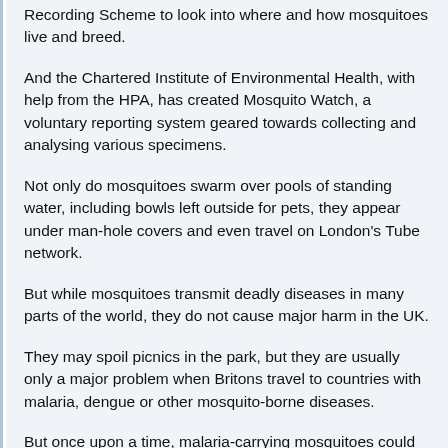Recording Scheme to look into where and how mosquitoes live and breed.
And the Chartered Institute of Environmental Health, with help from the HPA, has created Mosquito Watch, a voluntary reporting system geared towards collecting and analysing various specimens.
Not only do mosquitoes swarm over pools of standing water, including bowls left outside for pets, they appear under man-hole covers and even travel on London's Tube network.
But while mosquitoes transmit deadly diseases in many parts of the world, they do not cause major harm in the UK.
They may spoil picnics in the park, but they are usually only a major problem when Britons travel to countries with malaria, dengue or other mosquito-borne diseases.
But once upon a time, malaria-carrying mosquitoes could be found in the salt marshes of southeastern England.
It is believed that malaria - literally "bad air" - dates back at least to Roman times in the UK, and outbreaks occurred as recently as the